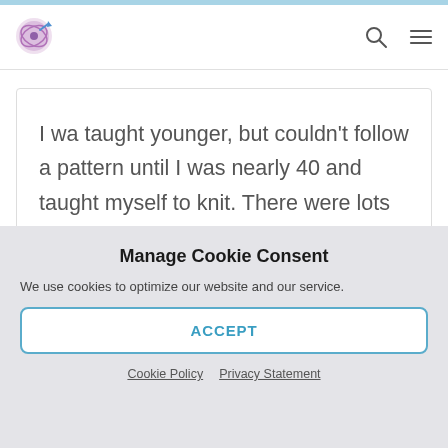Website navigation bar with logo, search icon, and menu icon
I wa taught younger, but couldn't follow a pattern until I was nearly 40 and taught myself to knit. There were lots of blankets and scarves! And if you didn't
Manage Cookie Consent
We use cookies to optimize our website and our service.
ACCEPT
Cookie Policy  Privacy Statement